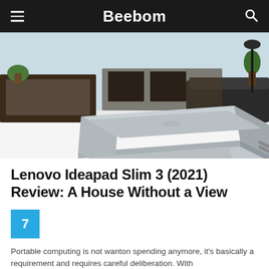Beebom
[Figure (photo): Lenovo Ideapad Slim 3 laptop closed, placed on a white desk with an office background with furniture and plants]
Lenovo Ideapad Slim 3 (2021) Review: A House Without a View
7
Portable computing is not wanton spending anymore, it's basically a requirement and requires careful deliberation. With